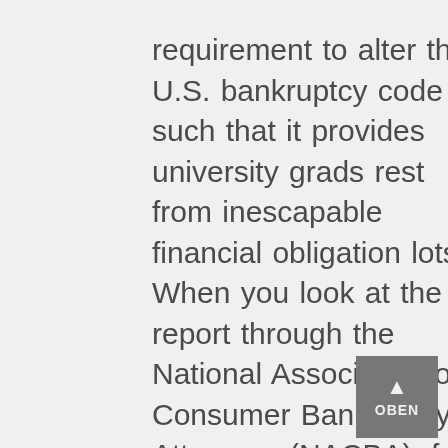requirement to alter the U.S. bankruptcy code such that it provides university grads rest from inescapable financial obligation lots. When you look at the report through the National Association of Consumer Bankruptcy Attorneys (NACBA), four away from five associated with the 860 lawyers surveyed stated the